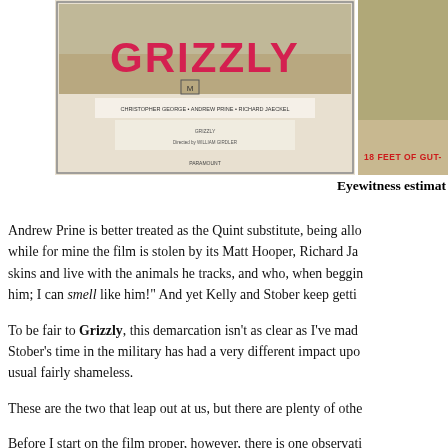[Figure (photo): Movie poster for 'Grizzly' at the top left, with red stylized title text and cast credits visible. A second partial movie image is visible at the top right with red text '18 FEET OF GUT-'.]
Eyewitness estimat
Andrew Prine is better treated as the Quint substitute, being allo while for mine the film is stolen by its Matt Hooper, Richard Ja skins and live with the animals he tracks, and who, when beggin him; I can smell like him!" And yet Kelly and Stober keep getti
To be fair to Grizzly, this demarcation isn't as clear as I've mad Stober's time in the military has had a very different impact upo usual fairly shameless.
These are the two that leap out at us, but there are plenty of othe
Before I start on the film proper, however, there is one observati of the same vintage, I am reminded of just what a mean-spirited